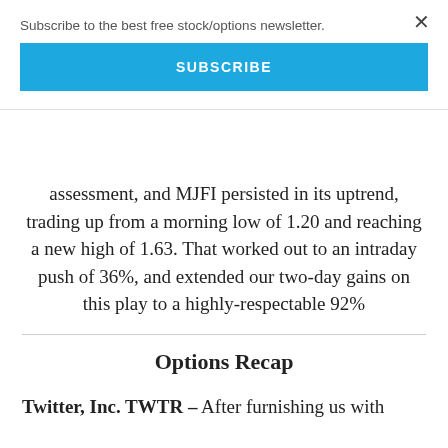Subscribe to the best free stock/options newsletter.
SUBSCRIBE
assessment, and MJFI persisted in its uptrend, trading up from a morning low of 1.20 and reaching a new high of 1.63. That worked out to an intraday push of 36%, and extended our two-day gains on this play to a highly-respectable 92%
Options Recap
Twitter, Inc. TWTR – After furnishing us with